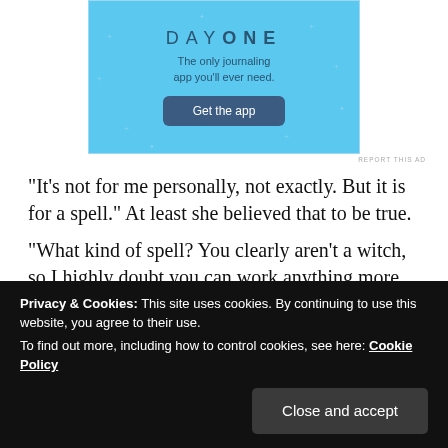[Figure (infographic): Day One journaling app advertisement with light blue background, sparkle decorations, title 'DAY ONE', subtitle 'The only journaling app you'll ever need.', and a dark blue 'Get the app' button.]
REPORT THIS AD
“It’s not for me personally, not exactly. But it is for a spell.” At least she believed that to be true.
“What kind of spell? You clearly aren’t a witch, so I highly doubt you can work anything more than a basic love potion, and for that you don’t need
thing I need.
Privacy & Cookies: This site uses cookies. By continuing to use this website, you agree to their use.
To find out more, including how to control cookies, see here: Cookie Policy
Close and accept